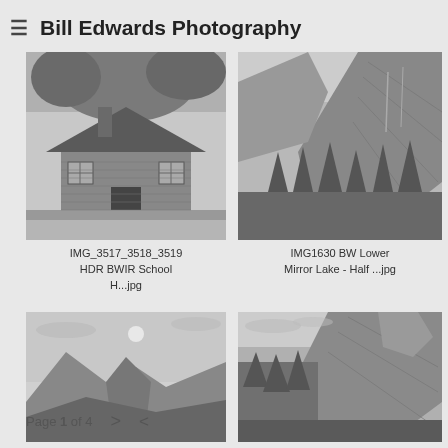≡  Bill Edwards Photography
[Figure (photo): Black and white infrared HDR photo of an old wooden school house with trees behind it]
IMG_3517_3518_3519 HDR BWIR School H...jpg
[Figure (photo): Black and white photo of Half Dome and granite cliffs at Lower Mirror Lake, Yosemite]
IMG1630 BW Lower Mirror Lake - Half ...jpg
[Figure (photo): Black and white photo of Half Dome under moonlit sky]
[Figure (photo): Black and white photo of granite cliffs and trees, Yosemite]
Page 1 of 4  >  ≮